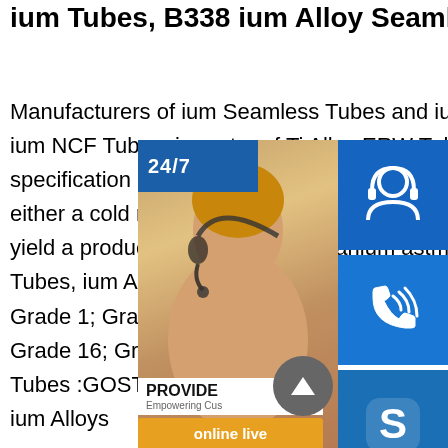ium Tubes, B338 ium Alloy Seamless Tubing, Ti
Manufacturers of ium Seamless Tubes and ium Tubing, Special price for ium NCF Tubes, importer of Ti Alloy ERW Tube in India. According to the specification B338 ium Seamless Tubing is to be produced from billet by either a cold reducing process or drawing process. These processes are yield a product, in this case the titanium astm b338 ium and ium Alloy Tubes, ium ASTM B862 Standard Specificati and ium Alloy Welded Pipe Grade 1; Grade 2; Grade 3; Grade 7; Grade 9; Grade 11; Grade 12; Grade 16; Grade 17 :DIN 17861 Seamless Circular ium and ium Alloy Tubes :GOST 24890 ium Welded Tubes :OST 90050 ium Tubes From ium Alloys
[Figure (infographic): Customer support overlay with 24/7 label, headset agent photo, phone icon button, Skype icon button, PROVIDE Empowering Customers banner, online live button, and scroll-to-top arrow button]